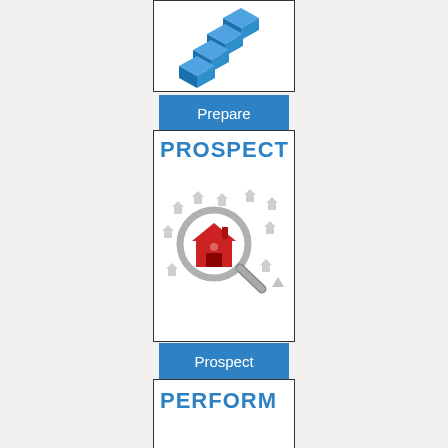[Figure (illustration): Blue 3D stacked cubes/blocks icon arranged in a staircase pattern]
Prepare
[Figure (illustration): Box labeled PROSPECT with a magnifying glass over a red house icon surrounded by smaller grey house icons]
Prospect
[Figure (illustration): Box labeled PERFORM (partially visible)]